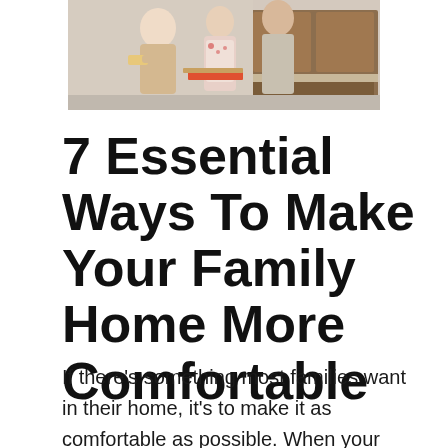[Figure (photo): A family scene in a kitchen — adults and a child interacting at a counter or table, with kitchen cabinetry visible in the background.]
7 Essential Ways To Make Your Family Home More Comfortable
If there's something most families want in their home, it's to make it as comfortable as possible. When your home is nice and